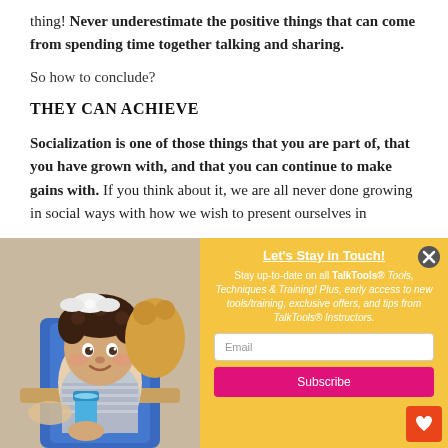thing!  Never underestimate the positive things that can come from spending time together talking and sharing.
So how to conclude?
THEY CAN ACHIEVE
Socialization is one of those things that you are part of, that you have grown with, and that you can continue to make gains with.  If you think about it, we are all never done growing in social ways with how we wish to present ourselves in
[Figure (photo): A smiling baby/toddler with curly hair and a white bow, sitting in a blue high chair, holding a sippy cup]
[Figure (infographic): Email subscription popup with yellow background. Title: Let's Stay in Touch! Body text about TalkTools Tools, Techniques & Training. Email input field and Subscribe button. Close X button in top right.]